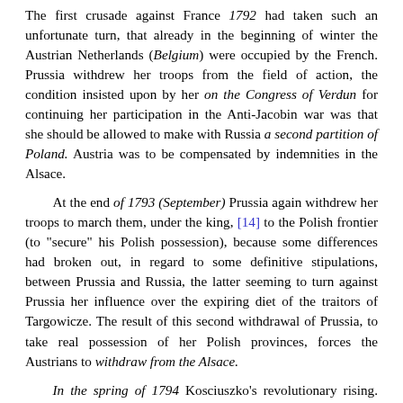The first crusade against France 1792 had taken such an unfortunate turn, that already in the beginning of winter the Austrian Netherlands (Belgium) were occupied by the French. Prussia withdrew her troops from the field of action, the condition insisted upon by her on the Congress of Verdun for continuing her participation in the Anti-Jacobin war was that she should be allowed to make with Russia a second partition of Poland. Austria was to be compensated by indemnities in the Alsace.
At the end of 1793 (September) Prussia again withdrew her troops to march them, under the king, [14] to the Polish frontier (to "secure" his Polish possession), because some differences had broken out, in regard to some definitive stipulations, between Prussia and Russia, the latter seeming to turn against Prussia her influence over the expiring diet of the traitors of Targowicze. The result of this second withdrawal of Prussia, to take real possession of her Polish provinces, forces the Austrians to withdraw from the Alsace.
In the spring of 1794 Kosciuszko's revolutionary rising. Prussia marched at once her troops against Poland. Beaten. In September 1794, while forced to retreat from Warsaw, at the same time rising in Posen. Then the king of Prussia declared his intention to